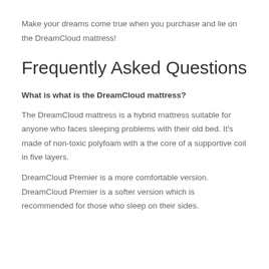Make your dreams come true when you purchase and lie on the DreamCloud mattress!
Frequently Asked Questions
What is what is the DreamCloud mattress?
The DreamCloud mattress is a hybrid mattress suitable for anyone who faces sleeping problems with their old bed. It's made of non-toxic polyfoam with a the core of a supportive coil in five layers.
DreamCloud Premier is a more comfortable version. DreamCloud Premier is a softer version which is recommended for those who sleep on their sides.